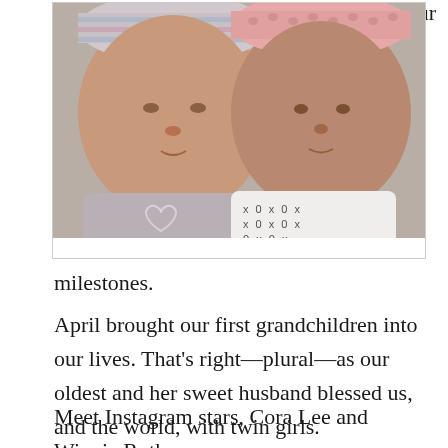[Figure (photo): Two newborn twin babies sleeping side by side, wearing hospital hats — one striped blue/pink, one pink crocheted. The right baby is wrapped in a white onesie with XOXO print.]
Yes, they're real. And they really are that cute.
milestones.
April brought our first grandchildren into our lives. That's right—plural—as our oldest and her sweet husband blessed us, and the world, with twin girls.
Meet Instagram stars, Cora Lee and Winnie Ruth.